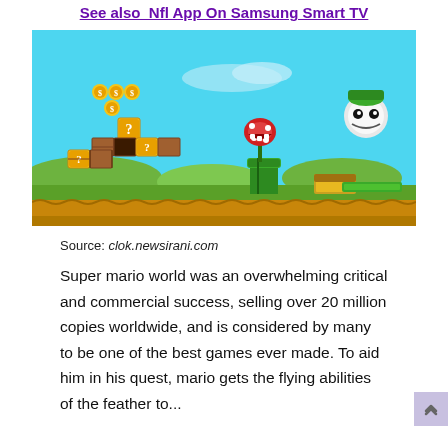See also  Nfl App On Samsung Smart TV
[Figure (photo): Screenshot of Super Mario World style video game showing colorful platformer gameplay with coins, blocks, piranha plant, and green pipe against a blue sky background]
Source: clok.newsirani.com
Super mario world was an overwhelming critical and commercial success, selling over 20 million copies worldwide, and is considered by many to be one of the best games ever made. To aid him in his quest, mario gets the flying abilities of the feather to...